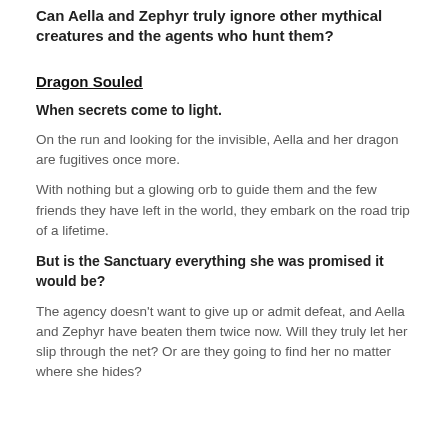Can Aella and Zephyr truly ignore other mythical creatures and the agents who hunt them?
Dragon Souled
When secrets come to light.
On the run and looking for the invisible, Aella and her dragon are fugitives once more.
With nothing but a glowing orb to guide them and the few friends they have left in the world, they embark on the road trip of a lifetime.
But is the Sanctuary everything she was promised it would be?
The agency doesn't want to give up or admit defeat, and Aella and Zephyr have beaten them twice now. Will they truly let her slip through the net? Or are they going to find her no matter where she hides?